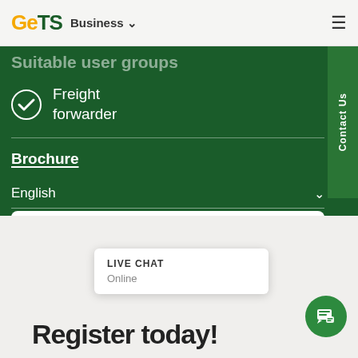GeTS  Business ▾
Suitable user groups
Freight forwarder
Brochure
English ▾
Download PDF ⬇
Register today!
LIVE CHAT
Online